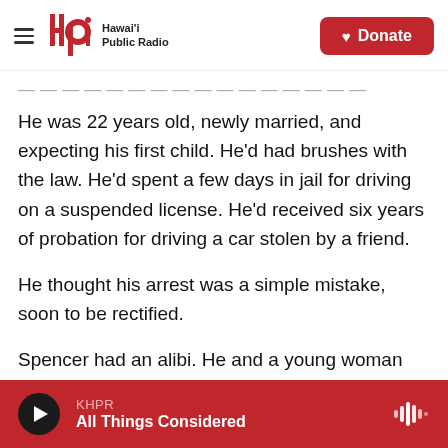Hawai'i Public Radio — Donate
He was 22 years old, newly married, and expecting his first child. He'd had brushes with the law. He'd spent a few days in jail for driving on a suspended license. He'd received six years of probation for driving a car stolen by a friend.
He thought his arrest was a simple mistake, soon to be rectified.
Spencer had an alibi. He and a young woman told police they hung out from around 7:30 p.m. to past midnight the night of the killing. There was no physical evidence connecting him to the crime — no
KHPR — All Things Considered